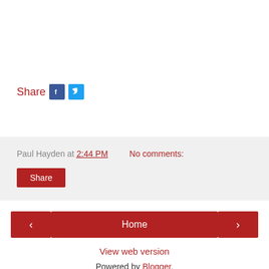Share [Facebook icon] [Twitter icon]
Paul Hayden at 2:44 PM   No comments:
Share
< Home >
View web version
Powered by Blogger.